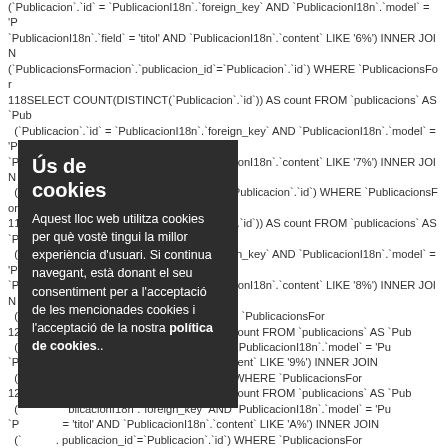(`Publicacion`.`id` = `PublicacionI18n`.`foreign_key` AND `PublicacionI18n`.`model` = 'P `PublicacionI18n`.`field` = 'titol' AND `PublicacionI18n`.`content` LIKE '6%') INNER JOIN (`PublicacionsFormacion`.`publicacion_id`=`Publicacion`.`id`) WHERE `PublicacionsForm 118SELECT COUNT(DISTINCT(`Publicacion`.`id`)) AS count FROM `publicacions` AS `Pub (`Publicacion`.`id` = `PublicacionI18n`.`foreign_key` AND `PublicacionI18n`.`model` = 'Pu `PublicacionI18n`.`field` = 'titol' AND `PublicacionI18n`.`content` LIKE '7%') INNER JOIN (`PublicacionsFormacion`.`publicacion_id`=`Publicacion`.`id`) WHERE `PublicacionsForm 119SELECT COUNT(DISTINCT(`Publicacion`.`id`)) AS count FROM `publicacions` AS `Pub (`Publicacion`.`id` = `PublicacionI18n`.`foreign_key` AND `PublicacionI18n`.`model` = 'Pu `PublicacionI18n`.`field` = 'titol' AND `PublicacionI18n`.`content` LIKE '8%') INNER JOIN (`.publicacion_id`=`Publicacion`.`id`) WHERE `PublicacionsForm 120S NCT(`Publicacion`.`id`)) AS count FROM `publicacions` AS `Pub (` blicacionI18n`.`foreign_key` AND `PublicacionI18n`.`model` = 'Pu `P = 'titol' AND `PublicacionI18n`.`content` LIKE '9%') INNER JOIN (` . publicacion_id`=`Publicacion`.`id`) WHERE `PublicacionsForm 121S NCT(`Publicacion`.`id`)) AS count FROM `publicacions` AS `Pub (` blicacionI18n`.`foreign_key` AND `PublicacionI18n`.`model` = 'Pu `P = 'titol' AND `PublicacionI18n`.`content` LIKE 'A%') INNER JOIN (` . publicacion_id`=`Publicacion`.`id`) WHERE `PublicacionsForm 122S NCT(`Publicacion`.`id`)) AS count FROM `publicacions` AS `Pub (` blicacionI18n`.`foreign_key` AND `PublicacionI18n`.`model` = 'Pu `P = 'titol' AND `PublicacionI18n`.`content` LIKE 'B%') INNER JOIN (` . publicacion_id`=`Publicacion`.`id`) WHERE `PublicacionsForm 123S NCT(`Publicacion`.`id`)) AS count FROM `publicacions` AS `Pub (` blicacionI18n`.`foreign_key` AND `PublicacionI18n`.`model` = 'Pu `P = 'titol' AND `PublicacionI18n`.`content` LIKE 'C%') INNER JOIN (`PublicacionsFormacion`.`publicacion_id`=`Publicacion`.`id`) WHERE `PublicacionsForm 124SELECT COUNT(DISTINCT(`Publicacion`.`id`)) AS count FROM `publicacions` AS `Pub (`Publicacion`.`id` = `PublicacionI18n`.`foreign_key` AND `PublicacionI18n`.`model` = 'Pu `PublicacionI18n`.`field` = 'titol' AND `PublicacionI18n`.`content` LIKE 'D%') INNER JOIN (`PublicacionsFormacion`.`publicacion_id`=`Publicacion`.`id`) WHERE `PublicacionsForm
[Figure (other): Cookie consent overlay popup with dark background. Title: 'Ús de cookies'. Body text in Catalan explaining cookie usage and policy.]